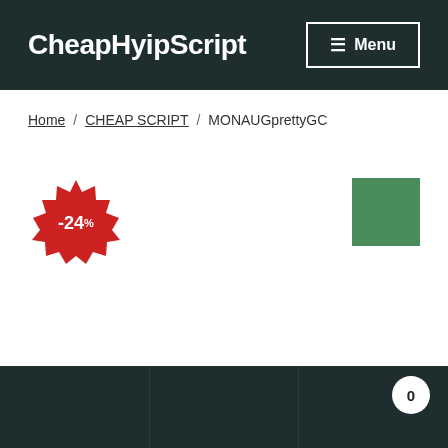CheapHyipScript  Menu
Home / CHEAP SCRIPT / MONAUGprettyGC
[Figure (infographic): Red discount badge with text -24% and a small percent symbol]
[Figure (other): Solid green rectangle]
Footer with three columns and a circular badge showing 0